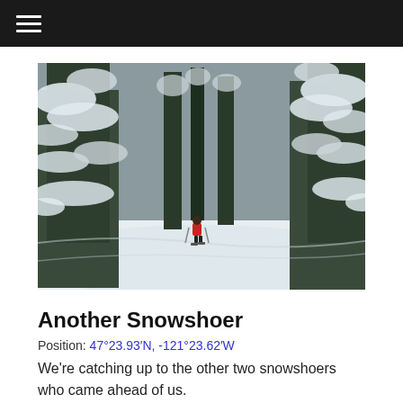☰ (navigation menu)
[Figure (photo): A snowshoer in a red jacket walking through deep snow in a dense forest of snow-covered evergreen trees. The scene is heavily blanketed in white snow, with tall fir trees on either side forming a corridor.]
Another Snowshoer
Position: 47°23.93′N, -121°23.62′W
We're catching up to the other two snowshoers who came ahead of us.